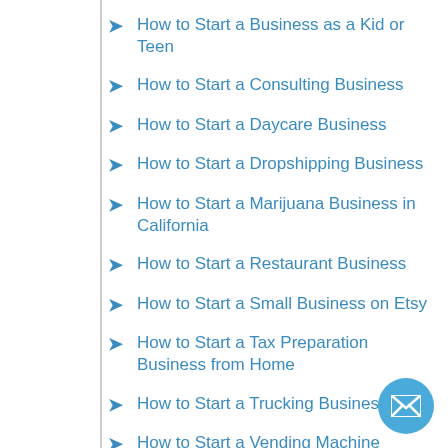How to Start a Business as a Kid or Teen
How to Start a Consulting Business
How to Start a Daycare Business
How to Start a Dropshipping Business
How to Start a Marijuana Business in California
How to Start a Restaurant Business
How to Start a Small Business on Etsy
How to Start a Tax Preparation Business from Home
How to Start a Trucking Business
How to Start a Vending Machine Business